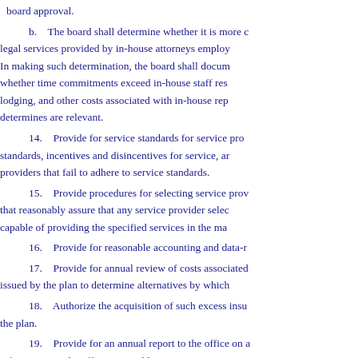board approval.
b.    The board shall determine whether it is more cost-effective to use legal services provided by in-house attorneys employed by the plan or outside counsel. In making such determination, the board shall document its findings, including whether time commitments exceed in-house staff resources, travel, lodging, and other costs associated with in-house representation, and other factors it determines are relevant.
14.    Provide for service standards for service providers, including service standards, incentives and disincentives for service, and sanctions for service providers that fail to adhere to service standards.
15.    Provide procedures for selecting service providers and service contracts that reasonably assure that any service provider selected has the demonstrated ability to be capable of providing the specified services in the manner required by the plan.
16.    Provide for reasonable accounting and data-reporting requirements.
17.    Provide for annual review of costs associated with handling of claims issued by the plan to determine alternatives by which costs may be reduced.
18.    Authorize the acquisition of such excess insurance coverage as is appropriate for the plan.
19.    Provide for an annual report to the office on a form containing such information as the office reasonably requires.
20.    Establish multiple rating plans for various classes of risks based on actual losses, size of premium, and compliance with loss control recommendations.